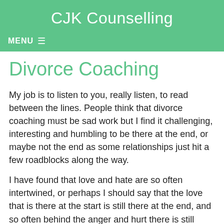CJK Counselling
MENU ≡
Divorce Coaching
My job is to listen to you, really listen, to read between the lines. People think that divorce coaching must be sad work but I find it challenging, interesting and humbling to be there at the end, or maybe not the end as some relationships just hit a few roadblocks along the way.
I have found that love and hate are so often intertwined, or perhaps I should say that the love that is there at the start is still there at the end, and so often behind the anger and hurt there is still care.